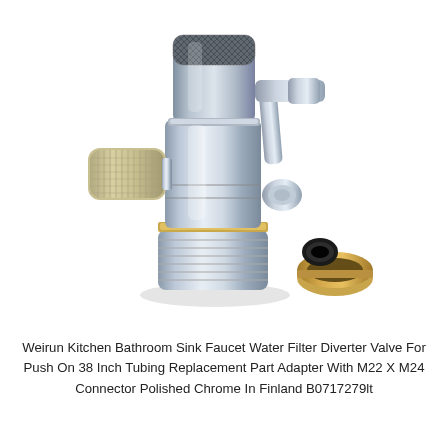[Figure (photo): A chrome faucet water filter diverter valve with a knurled side knob on the left and a lever/handle on the right. The valve has a threaded bottom section. Next to it is a separate brass adapter ring with a black rubber washer.]
Weirun Kitchen Bathroom Sink Faucet Water Filter Diverter Valve For Push On 38 Inch Tubing Replacement Part Adapter With M22 X M24 Connector Polished Chrome In Finland B0717279lt